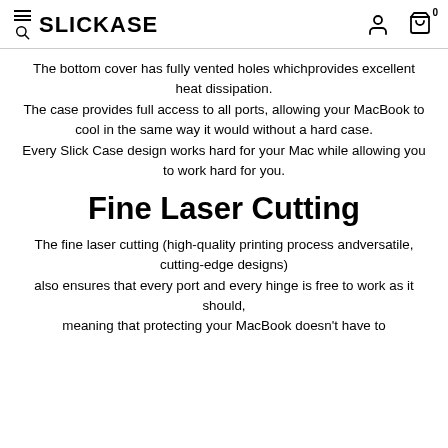SLICKCASE — navigation header with menu, search, user, and cart icons
The bottom cover has fully vented holes whichprovides excellent heat dissipation.
The case provides full access to all ports, allowing your MacBook to cool in the same way it would without a hard case.
Every Slick Case design works hard for your Mac while allowing you to work hard for you.
Fine Laser Cutting
The fine laser cutting (high-quality printing process andversatile, cutting-edge designs)
also ensures that every port and every hinge is free to work as it should,
meaning that protecting your MacBook doesn't have to